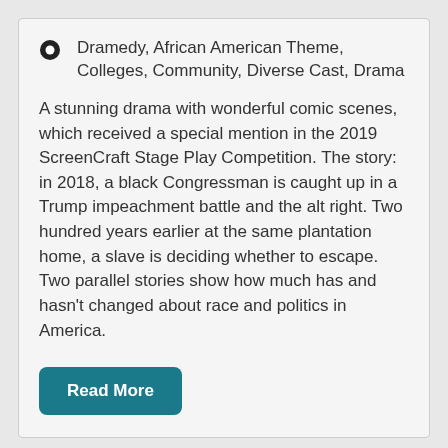Dramedy, African American Theme, Colleges, Community, Diverse Cast, Drama
A stunning drama with wonderful comic scenes, which received a special mention in the 2019 ScreenCraft Stage Play Competition. The story: in 2018, a black Congressman is caught up in a Trump impeachment battle and the alt right. Two hundred years earlier at the same plantation home, a slave is deciding whether to escape. Two parallel stories show how much has and hasn't changed about race and politics in America.
Read More